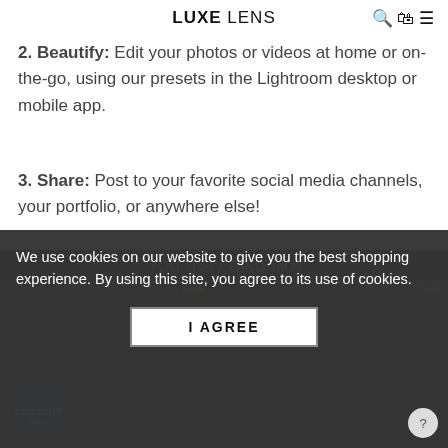LUXE LENS
with your smartphone or digital camera.
2. Beautify: Edit your photos or videos at home or on-the-go, using our presets in the Lightroom desktop or mobile app.
3. Share: Post to your favorite social media channels, your portfolio, or anywhere else!
You may also like
We use cookies on our website to give you the best shopping experience. By using this site, you agree to its use of cookies.
I AGREE